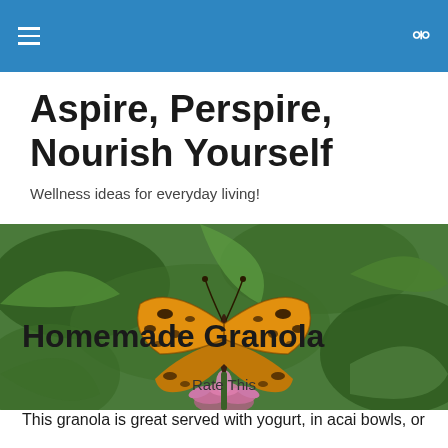Aspire, Perspire, Nourish Yourself — site navigation header
Aspire, Perspire, Nourish Yourself
Wellness ideas for everyday living!
[Figure (photo): A golden butterfly with black spots resting on a pink flower with green foliage background]
Homemade Granola
Rate This
This granola is great served with yogurt, in acai bowls, or